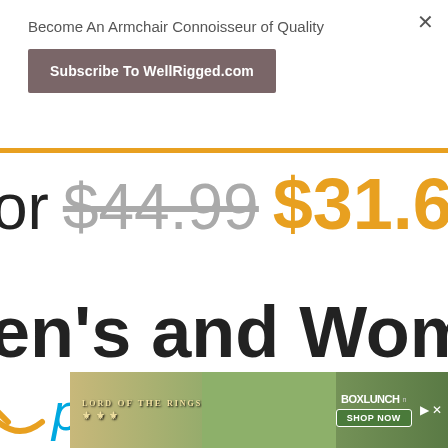Become An Armchair Connoisseur of Quality
Subscribe To WellRigged.com
or $44.99 $31.60
en's and Women's
[Figure (logo): Amazon Prime logo with smile icon and 'prime' text in blue italic]
[Figure (photo): Lord of the Rings advertisement banner with BoxLunch branding and Shop Now button]